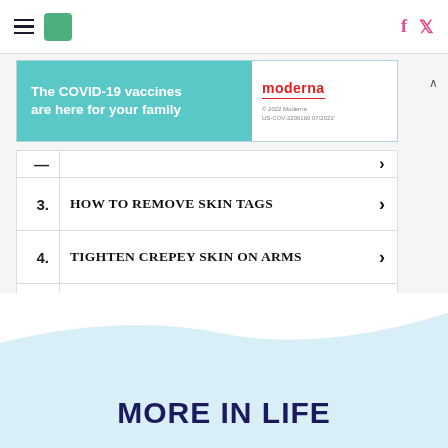HuffPost navigation with hamburger menu, logo, Facebook and Twitter icons
[Figure (screenshot): Moderna COVID-19 vaccine advertisement banner: 'The COVID-19 vaccines are here for your family' with Moderna logo]
3. HOW TO REMOVE SKIN TAGS
4. TIGHTEN CREPEY SKIN ON ARMS
5. BEST HAIR GROWTH VITAMINS
6. BEST COMFORT SHOES FOR WALKING
Ad | Local
MORE IN LIFE